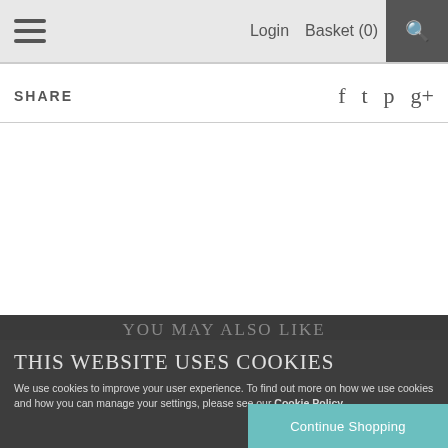Login   Basket (0)
SHARE
You may also like
This website uses cookies
We use cookies to improve your user experience. To find out more on how we use cookies and how you can manage your settings, please see our Cookie Policy.
Continue Shopping